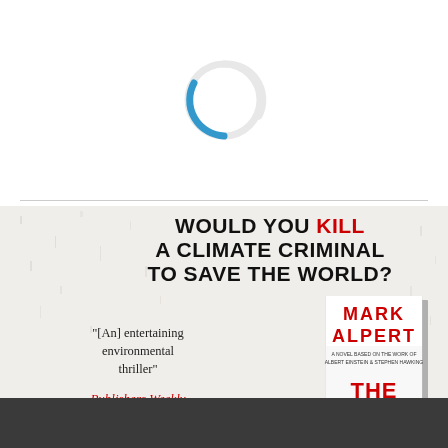[Figure (other): Loading spinner — circular progress indicator, mostly white/light gray with a blue arc segment at bottom-left]
[Figure (illustration): Book advertisement for 'The Doomsday...' by Mark Alpert. Headline: 'WOULD YOU KILL A CLIMATE CRIMINAL TO SAVE THE WORLD?' in black uppercase, with 'KILL' in red. Quote: '[An] entertaining environmental thriller' — Publishers Weekly in red italic. Book cover shown on right. Dark banner at bottom.]